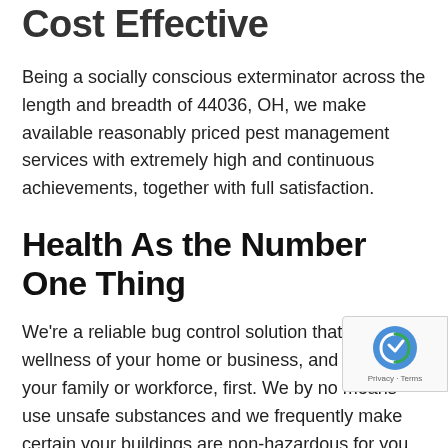Cost Effective
Being a socially conscious exterminator across the length and breadth of 44036, OH, we make available reasonably priced pest management services with extremely high and continuous achievements, together with full satisfaction.
Health As the Number One Thing
We’re a reliable bug control solution that puts the wellness of your home or business, and that of your family or workforce, first. We by no means use unsafe substances and we frequently make certain your buildings are non-hazardous for you together with other residents to put them to good use.
Fine Tuned To Your Busy